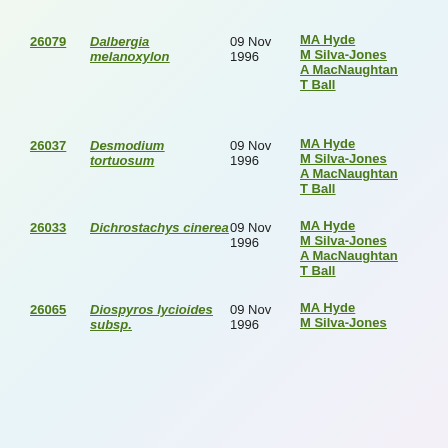26079 Dalbergia melanoxylon 09 Nov 1996 MA Hyde M Silva-Jones A MacNaughtan T Ball
26037 Desmodium tortuosum 09 Nov 1996 MA Hyde M Silva-Jones A MacNaughtan T Ball
26033 Dichrostachys cinerea 09 Nov 1996 MA Hyde M Silva-Jones A MacNaughtan T Ball
26065 Diospyros lycioides subsp. 09 Nov 1996 MA Hyde M Silva-Jones